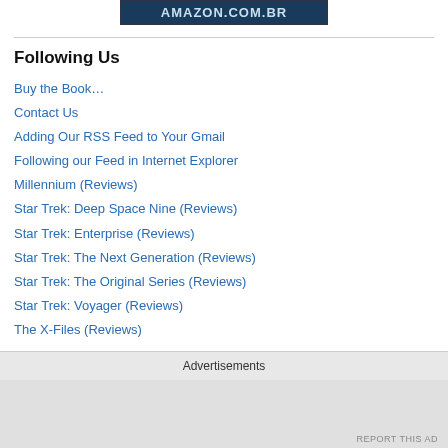[Figure (logo): AMAZON.COM.BR logo banner in dark blue]
Following Us
Buy the Book…
Contact Us
Adding Our RSS Feed to Your Gmail
Following our Feed in Internet Explorer
Millennium (Reviews)
Star Trek: Deep Space Nine (Reviews)
Star Trek: Enterprise (Reviews)
Star Trek: The Next Generation (Reviews)
Star Trek: The Original Series (Reviews)
Star Trek: Voyager (Reviews)
The X-Files (Reviews)
Advertisements
REPORT THIS AD